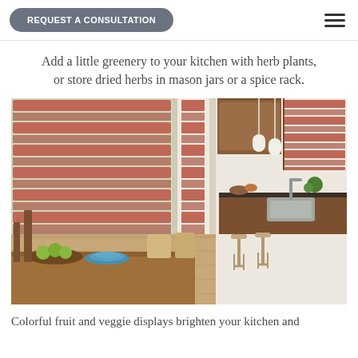REQUEST A CONSULTATION
Add a little greenery to your kitchen with herb plants, or store dried herbs in mason jars or a spice rack.
[Figure (photo): Modern kitchen interior with terracotta/rust-colored roman blinds on large windows, wooden cabinetry, dark countertops, bar stools at a kitchen island, pendant lights, and a wooden dining table with chairs in the foreground. Green plants and fruit bowls are visible on the counters.]
Colorful fruit and veggie displays brighten your kitchen and